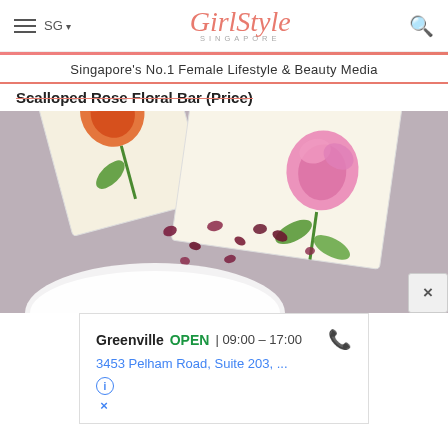GirlStyle SINGAPORE
Singapore's No.1 Female Lifestyle & Beauty Media
Scalloped Rose Floral Bar (Price)
[Figure (photo): Blurred close-up photo of botanical illustration cards with pressed rose flowers and dried petals scattered on a gray fabric surface, with a white cup partially visible at the bottom.]
Greenville OPEN 09:00 – 17:00
3453 Pelham Road, Suite 203, ...